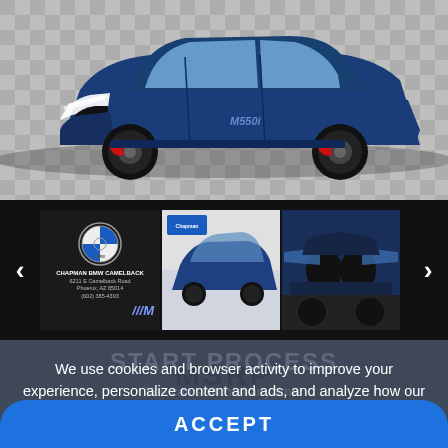[Figure (photo): Blue BMW 5-series sedan viewed from front-left angle, parked indoors on checkered floor]
[Figure (photo): Image carousel with BMW dealer logo thumbnail, blue BMW sedan side view thumbnail, blue BMW sedan front view thumbnail, with left and right navigation arrows]
MSRP
We use cookies and browser activity to improve your experience, personalize content and ads, and analyze how our sites are used. For more information, view our Privacy Policy.
In-store
ACCEPT